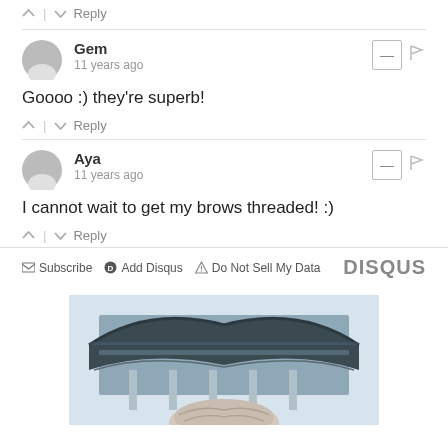↑ | ↓  Reply
Gem
11 years ago
Goooo :) they're superb!
↑ | ↓  Reply
Aya
11 years ago
I cannot wait to get my brows threaded! :)
↑ | ↓  Reply
Subscribe  Add Disqus  Do Not Sell My Data  DISQUS
[Figure (photo): Partial photo of a Korean temple/palace building with traditional curved roof, with a person wearing a fur hat visible at the bottom edge.]